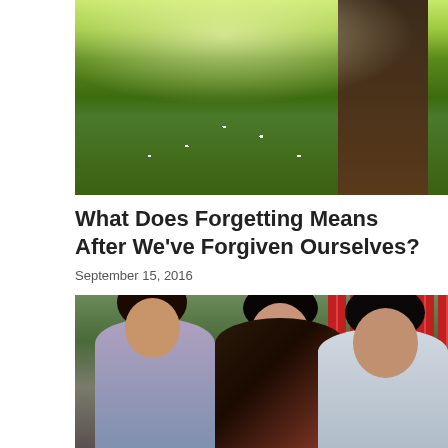[Figure (photo): Outdoor garden scene with green grass, white wildflowers, and a large tree trunk on the right side, with bright sunlight filtering through]
What Does Forgetting Means After We've Forgiven Ourselves?
September 15, 2016
[Figure (photo): Three women sitting outdoors and having a conversation; woman on left in blue-grey top with arms crossed, woman in middle in floral top smiling, woman on right in white top with dark hair]